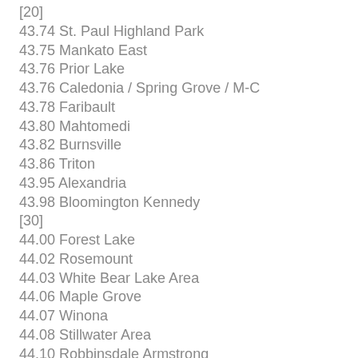[20]
43.74 St. Paul Highland Park
43.75 Mankato East
43.76 Prior Lake
43.76 Caledonia / Spring Grove / M-C
43.78 Faribault
43.80 Mahtomedi
43.82 Burnsville
43.86 Triton
43.95 Alexandria
43.98 Bloomington Kennedy
[30]
44.00 Forest Lake
44.02 Rosemount
44.03 White Bear Lake Area
44.06 Maple Grove
44.07 Winona
44.08 Stillwater Area
44.10 Robbinsdale Armstrong
43.9 Fergus Falls
44.15 Minneapolis Southwest
44.24 Anoka